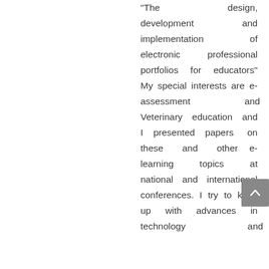“The design, development and implementation of electronic professional portfolios for educators” My special interests are e-assessment and Veterinary education and I presented papers on these and other e-learning topics at national and international conferences. I try to keep up with advances in technology and